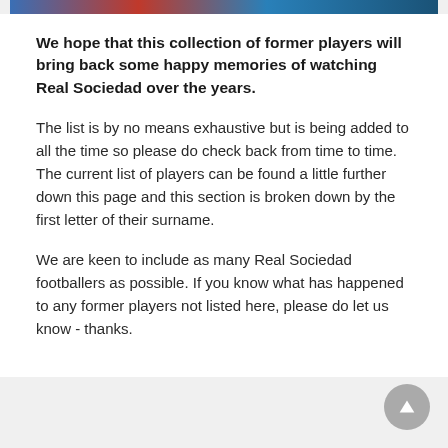[Figure (photo): Partial image strip at top showing football players, cropped]
We hope that this collection of former players will bring back some happy memories of watching Real Sociedad over the years.
The list is by no means exhaustive but is being added to all the time so please do check back from time to time. The current list of players can be found a little further down this page and this section is broken down by the first letter of their surname.
We are keen to include as many Real Sociedad footballers as possible. If you know what has happened to any former players not listed here, please do let us know - thanks.